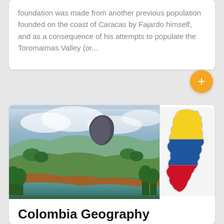foundation was made from another previous population founded on the coast of Caracas by Fajardo himself, and as a consequence of his attempts to populate the Toromaimas Valley (or...
[Figure (photo): Two side-by-side images: left shows a scenic Colombian landscape with a large rock formation (El Peñol), green hills, lake, and trees under a cloudy sky; right shows a simplified map of Colombia colored in yellow, blue, and red (the Colombian flag colors).]
Colombia Geography
Posted on November 12, 2021 by internetsailors